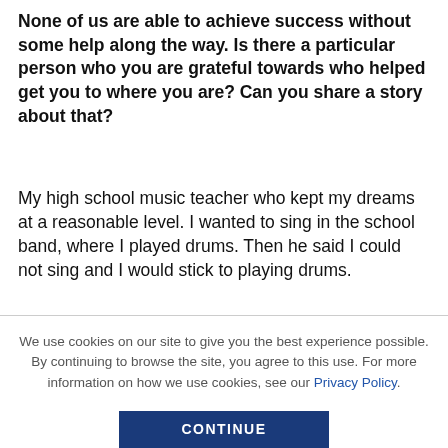None of us are able to achieve success without some help along the way. Is there a particular person who you are grateful towards who helped get you to where you are? Can you share a story about that?
My high school music teacher who kept my dreams at a reasonable level. I wanted to sing in the school band, where I played drums. Then he said I could not sing and I would stick to playing drums.
We use cookies on our site to give you the best experience possible. By continuing to browse the site, you agree to this use. For more information on how we use cookies, see our Privacy Policy.
CONTINUE